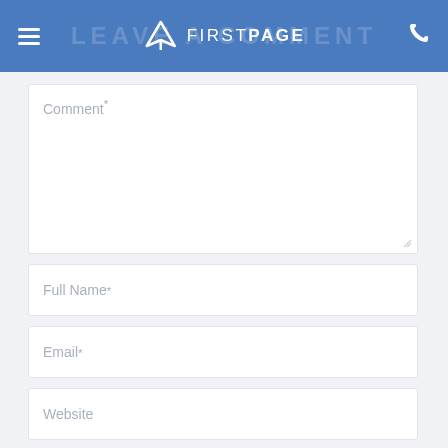FIRSTPAGE
Comment*
Full Name*
Email*
Website